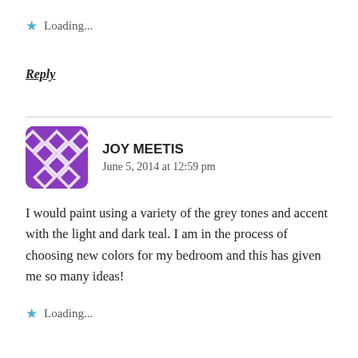Loading...
Reply
JOY MEETIS
June 5, 2014 at 12:59 pm
I would paint using a variety of the grey tones and accent with the light and dark teal. I am in the process of choosing new colors for my bedroom and this has given me so many ideas!
Loading...